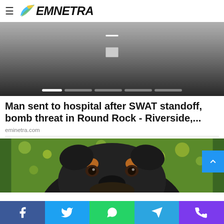EMNETRA
[Figure (screenshot): Slideshow/video placeholder with grey gradient background and play button icon, with progress dots at the bottom]
Man sent to hospital after SWAT standoff, bomb threat in Round Rock - Riverside,...
eminetra.com
[Figure (photo): Close-up photo of a black Rottweiler dog with brown markings, looking at camera, with green and yellow flowers in the background]
Social share bar with Facebook, Twitter, WhatsApp, Telegram, Phone icons